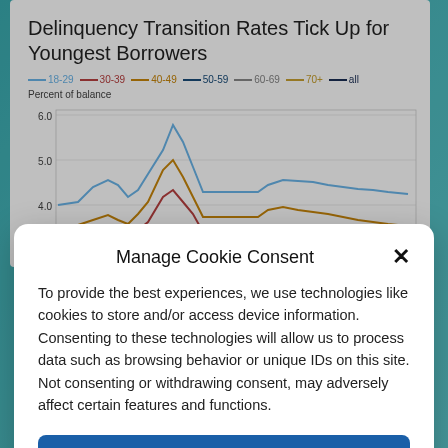Delinquency Transition Rates Tick Up for Youngest Borrowers
[Figure (line-chart): Multi-line chart showing delinquency transition rates by age group over time, with y-axis showing Percent of balance from 4.0 to 6.0]
Manage Cookie Consent
To provide the best experiences, we use technologies like cookies to store and/or access device information. Consenting to these technologies will allow us to process data such as browsing behavior or unique IDs on this site. Not consenting or withdrawing consent, may adversely affect certain features and functions.
ACCEPT
Privacy Policy